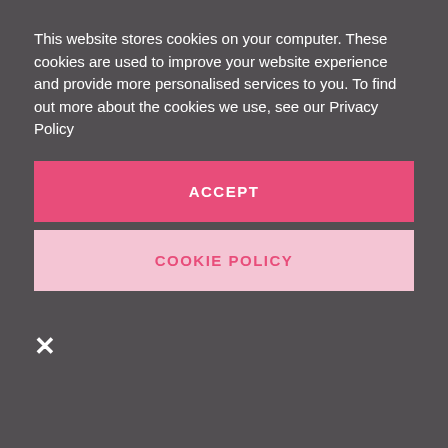This website stores cookies on your computer. These cookies are used to improve your website experience and provide more personalised services to you. To find out more about the cookies we use, see our Privacy Policy
ACCEPT
COOKIE POLICY
×
cycling, thereby missing the window of opportunity to promote EVs as the natural solution.
Electric is still the answer